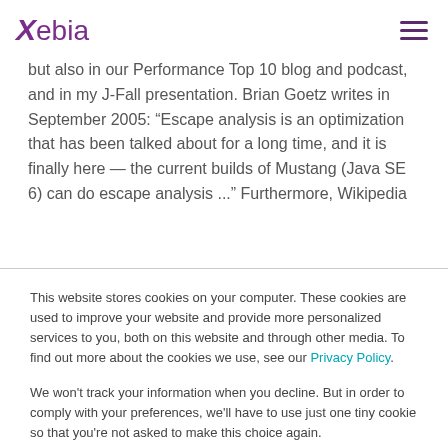Xebia
but also in our Performance Top 10 blog and podcast, and in my J-Fall presentation. Brian Goetz writes in September 2005: “Escape analysis is an optimization that has been talked about for a long time, and it is finally here — the current builds of Mustang (Java SE 6) can do escape analysis ...” Furthermore, Wikipedia
This website stores cookies on your computer. These cookies are used to improve your website and provide more personalized services to you, both on this website and through other media. To find out more about the cookies we use, see our Privacy Policy.
We won't track your information when you decline. But in order to comply with your preferences, we'll have to use just one tiny cookie so that you're not asked to make this choice again.